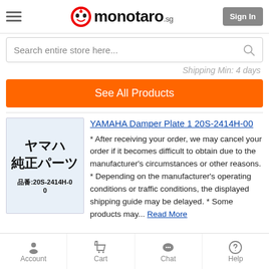[Figure (logo): Monotaro.sg logo with hamburger menu and Sign In button]
Search entire store here...
Shipping Min: 4 days
See All Products
[Figure (photo): Yamaha genuine parts product image with Japanese text: ヤマハ 純正パーツ, part number 品番:20S-2414H-00]
YAMAHA Damper Plate 1 20S-2414H-00
* After receiving your order, we may cancel your order if it becomes difficult to obtain due to the manufacturer's circumstances or other reasons. * Depending on the manufacturer's operating conditions or traffic conditions, the displayed shipping guide may be delayed. * Some products may... Read More
Account  Cart  Chat  Help